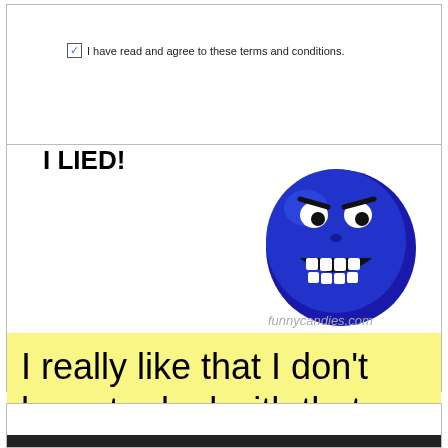✓ I have read and agree to these terms and conditions.
[Figure (illustration): I LIED! meme with blue troll face showing big teeth, watermark funnycandies.com]
I really like that I don't have to deal with that pesky alcoholic in my life